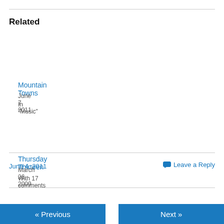Related
Mountain Towns
June 7, 2011
In "Music"
Thursday Thirteen
March 26, 2009
With 17 comments
Last Train to Knoxville
June 2, 2011
In "Music"
June 4, 2011
Leave a Reply
« Previous    Next »